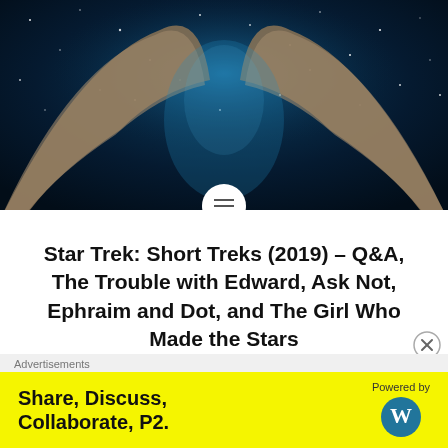[Figure (photo): Hero image showing a dark space/sci-fi scene with blue starfield and an arched golden/tan structure, Star Trek themed]
Star Trek: Short Treks (2019) – Q&A, The Trouble with Edward, Ask Not, Ephraim and Dot, and The Girl Who Made the Stars
Captain's log: 2254 Micheal Chabon pens the first Short Trek of the second season. This short traps Number One (Rebecca Romijn) and Spock (Ethan Peck) in a turbolift, shortly after the young science officer has joined the Enterprise crew – his first day in fact. Trapped together
Advertisements
Share, Discuss, Collaborate, P2.
Powered by [WordPress logo]